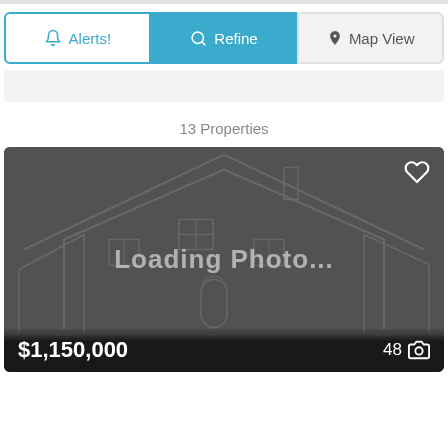[Figure (screenshot): Mobile real estate app UI showing Alerts, Refine, and Map View buttons at top, a filter bar below, a property count '13 Properties', and a listing card with a dark placeholder image showing 'Loading Photo...' with a house outline, price $1,150,000, and photo count 48.]
Alerts!
Refine
Map View
13 Properties
Loading Photo...
$1,150,000
48